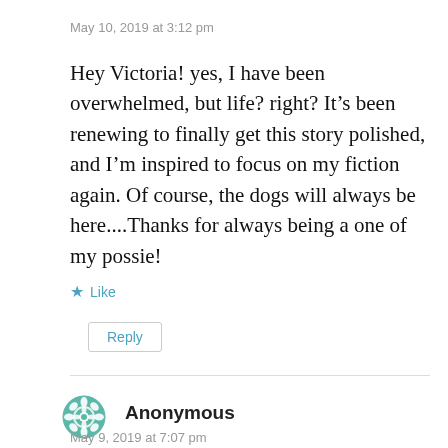May 10, 2019 at 3:12 pm
Hey Victoria! yes, I have been overwhelmed, but life? right? It's been renewing to finally get this story polished, and I'm inspired to focus on my fiction again. Of course, the dogs will always be here....Thanks for always being a one of my possie!
Like
Reply
[Figure (illustration): Teal/green decorative snowflake or mandala avatar icon for Anonymous commenter]
Anonymous
May 9, 2019 at 7:07 pm